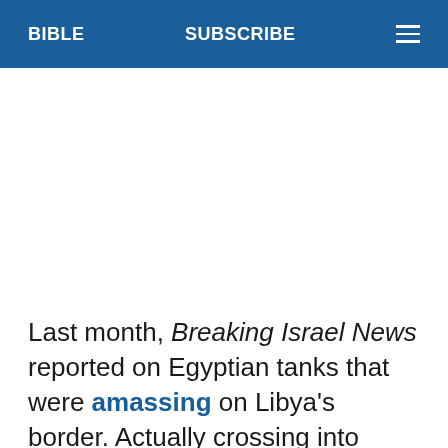BIBLE   SUBSCRIBE
[Figure (other): Advertisement or blank space below navigation bar]
Last month, Breaking Israel News reported on Egyptian tanks that were amassing on Libya's border. Actually crossing into Libya would be a